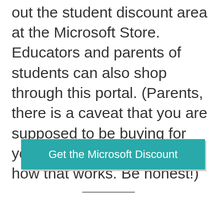out the student discount area at the Microsoft Store. Educators and parents of students can also shop through this portal. (Parents, there is a caveat that you are supposed to be buying for your student. Not quite sure how that works. Be honest!)
[Figure (other): Teal/turquoise call-to-action button labeled 'Get the Microsoft Discount' with a light gray drop shadow]
———